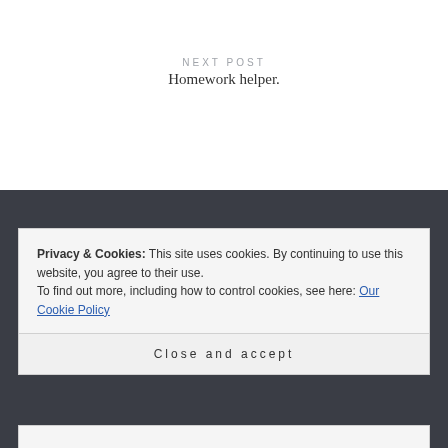NEXT POST
Homework helper.
Privacy & Cookies: This site uses cookies. By continuing to use this website, you agree to their use.
To find out more, including how to control cookies, see here: Our Cookie Policy
Close and accept